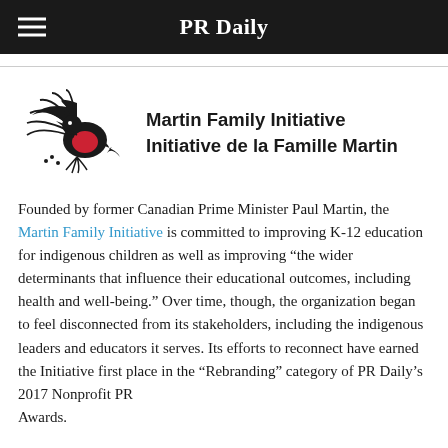PR Daily
[Figure (logo): Martin Family Initiative logo — stylized bird/dove made of hand shapes with a red heart element, alongside text 'Martin Family Initiative / Initiative de la Famille Martin']
Founded by former Canadian Prime Minister Paul Martin, the Martin Family Initiative is committed to improving K-12 education for indigenous children as well as improving "the wider determinants that influence their educational outcomes, including health and well-being." Over time, though, the organization began to feel disconnected from its stakeholders, including the indigenous leaders and educators it serves. Its efforts to reconnect have earned the Initiative first place in the "Rebranding" category of PR Daily's 2017 Nonprofit PR Awards.